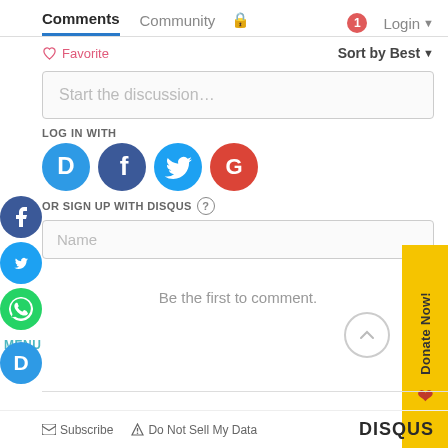Comments   Community   Login
♡ Favorite   Sort by Best
Start the discussion…
LOG IN WITH
[Figure (logo): Social login icons: Disqus (D), Facebook (f), Twitter bird, Google (G)]
OR SIGN UP WITH DISQUS ?
Name
Be the first to comment.
Subscribe   Do Not Sell My Data   DISQUS